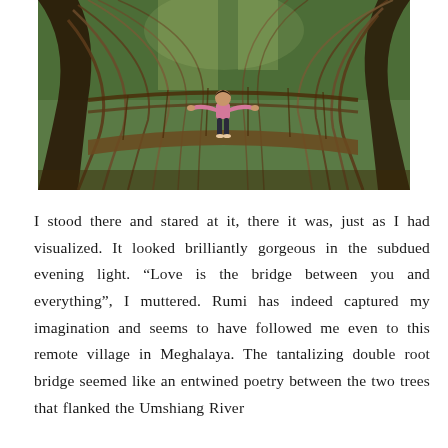[Figure (photo): A person in a pink top standing on a living root bridge made of intertwined tree roots in a lush forest in Meghalaya. The bridge is formed from aerial roots hanging from large trees, with greenery visible in the background.]
I stood there and stared at it, there it was, just as I had visualized. It looked brilliantly gorgeous in the subdued evening light. “Love is the bridge between you and everything”, I muttered. Rumi has indeed captured my imagination and seems to have followed me even to this remote village in Meghalaya. The tantalizing double root bridge seemed like an entwined poetry between the two trees that flanked the Umshiang River